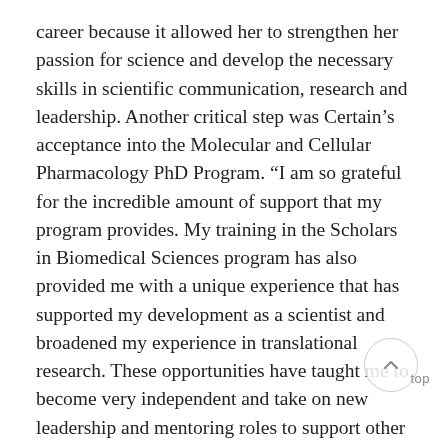career because it allowed her to strengthen her passion for science and develop the necessary skills in scientific communication, research and leadership. Another critical step was Certain’s acceptance into the Molecular and Cellular Pharmacology PhD Program. “I am so grateful for the incredible amount of support that my program provides. My training in the Scholars in Biomedical Sciences program has also provided me with a unique experience that has supported my development as a scientist and broadened my experience in translational research. These opportunities have taught me to become very independent and take on new leadership and mentoring roles to support other graduate students,” she said.
Certain acknowledges that it is not just her own accomplishments that have allowed her to win this award. “Since my undergraduate years at St. Joseph’s College, I have continued to build a community of